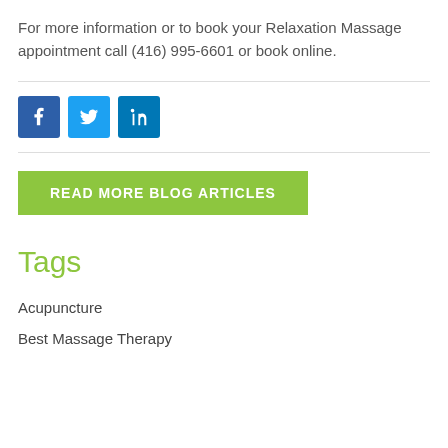For more information or to book your Relaxation Massage appointment call (416) 995-6601 or book online.
[Figure (infographic): Social media icons: Facebook (blue square with white f), Twitter (light blue square with white bird), LinkedIn (teal/blue square with white 'in')]
READ MORE BLOG ARTICLES
Tags
Acupuncture
Best Massage Therapy